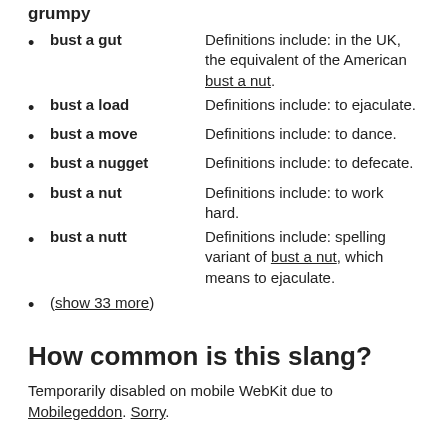grumpy
bust a gut — Definitions include: in the UK, the equivalent of the American bust a nut.
bust a load — Definitions include: to ejaculate.
bust a move — Definitions include: to dance.
bust a nugget — Definitions include: to defecate.
bust a nut — Definitions include: to work hard.
bust a nutt — Definitions include: spelling variant of bust a nut, which means to ejaculate.
(show 33 more)
How common is this slang?
Temporarily disabled on mobile WebKit due to Mobilegeddon. Sorry.
How vulgar is this slang?
Average of 10 votes: 49%. (See the most vulgar words.)